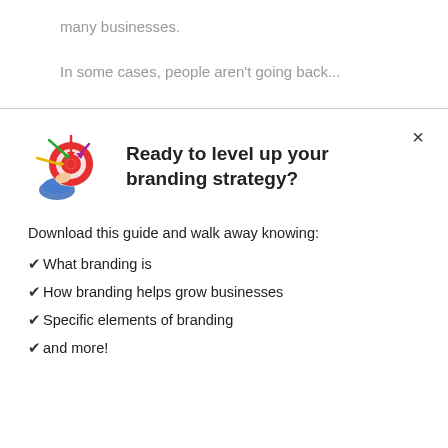many businesses.
In some cases, people aren't going back...
Ready to level up your branding strategy?
Download this guide and walk away knowing:
✔What branding is
✔How branding helps grow businesses
✔Specific elements of branding
✔and more!